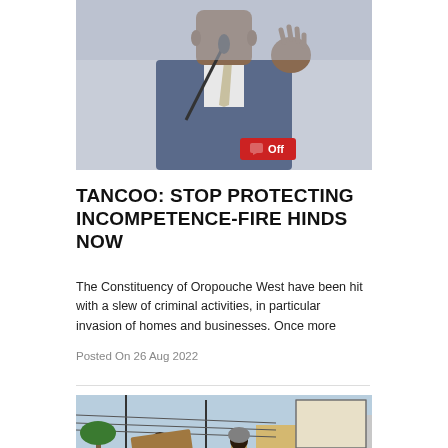[Figure (photo): Man in blue suit and patterned tie speaking at a podium with microphone, raising one hand. Red comment badge with 'Off' label in bottom-right corner of image.]
TANCOO: STOP PROTECTING INCOMPETENCE-FIRE HINDS NOW
The Constituency of Oropouche West have been hit with a slew of criminal activities, in particular invasion of homes and businesses. Once more
Posted On 26 Aug 2022
[Figure (photo): Street protest scene showing people holding cardboard signs reading 'IRON IS LIFE', with power lines, palm trees and buildings in background.]